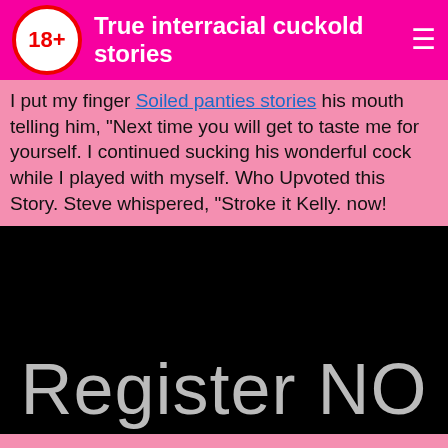True interracial cuckold stories
I put my finger Soiled panties stories his mouth telling him, "Next time you will get to taste me for yourself. I continued sucking his wonderful cock while I played with myself. Who Upvoted this Story. Steve whispered, "Stroke it Kelly. now!
[Figure (screenshot): Black panel with partial text 'Register NO' in large gray letters on black background]